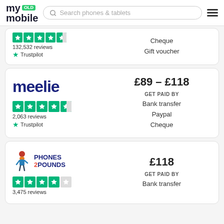[Figure (screenshot): my OLD mobile website header with logo, search bar, and hamburger menu]
132,532 reviews
Trustpilot
Cheque
Gift voucher
[Figure (logo): meelie logo]
£89 – £118
GET PAID BY
Bank transfer
Paypal
Cheque
2,063 reviews
Trustpilot
[Figure (logo): Phones 2 Pounds logo with cartoon figure]
£118
GET PAID BY
Bank transfer
3,475 reviews